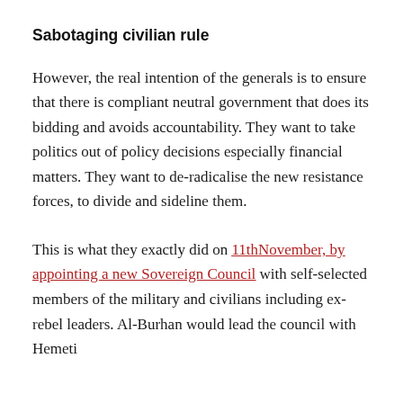Sabotaging civilian rule
However, the real intention of the generals is to ensure that there is compliant neutral government that does its bidding and avoids accountability. They want to take politics out of policy decisions especially financial matters. They want to de-radicalise the new resistance forces, to divide and sideline them.
This is what they exactly did on 11thNovember, by appointing a new Sovereign Council with self-selected members of the military and civilians including ex-rebel leaders. Al-Burhan would lead the council with Hemeti